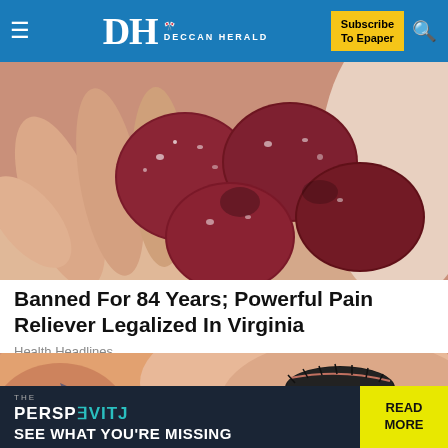DH DECCAN HERALD — Subscribe To Epaper
[Figure (photo): Close-up photo of dark red sugary gummy candies held in a person's palm]
Banned For 84 Years; Powerful Pain Reliever Legalized In Virginia
Health Headlines
[Figure (photo): Close-up photo of a person's face with closed eyes and freckles]
[Figure (infographic): THE PERSPECTIVE advertisement banner: 'SEE WHAT YOU'RE MISSING' with READ MORE button]